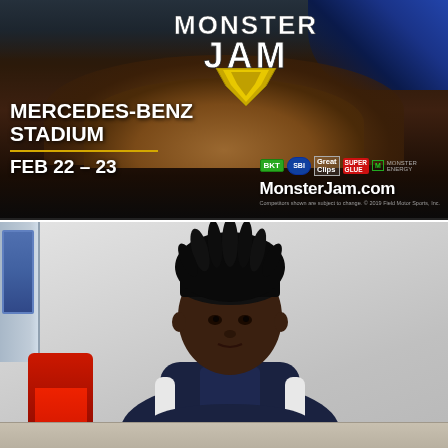[Figure (photo): Monster Jam advertisement banner showing the Monster Jam logo at top, a dirt mound in the background, with event details: Mercedes-Benz Stadium, Feb 22-23. Sponsors including BKT, SBI, Great Clips, Super Glue, Monster Energy shown alongside MonsterJam.com website. Dark background.]
[Figure (photo): Photo of a young Black boy wearing a black skull cap/headband and a dark navy jacket, leaning forward with his chin resting on his hands, looking at the camera with a thoughtful expression. He is seated in what appears to be a red chair. Light gray background. A blue frame/artwork is partially visible on the left wall.]